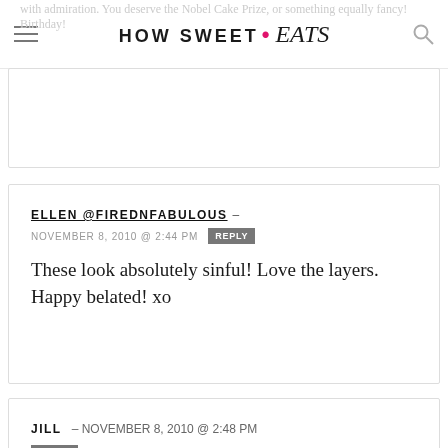HOW SWEET • eats
with admiration. You deserve the Nobel Cake Prize, or something equally fancy! Birthday!
ELLEN @FIREDNFABULOUS – NOVEMBER 8, 2010 @ 2:44 PM REPLY
These look absolutely sinful! Love the layers. Happy belated! xo
JILL – NOVEMBER 8, 2010 @ 2:48 PM REPLY
I just gained 5 pounds looking at the pictures! Good job, they look really good and I'm guessing tasted divine